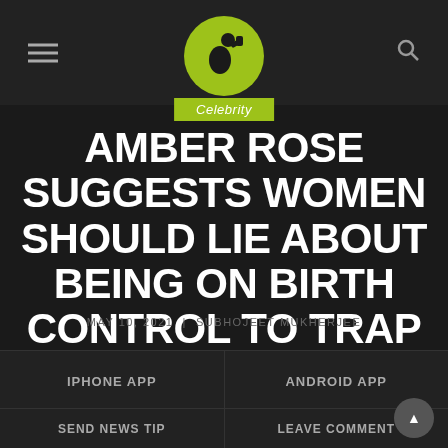Menu | Logo | Search
Celebrity
AMBER ROSE SUGGESTS WOMEN SHOULD LIE ABOUT BEING ON BIRTH CONTROL TO TRAP THEM
MAY 10, 2021 | SUBHOJEET MUKHERJEE
IPHONE APP
ANDROID APP
SEND NEWS TIP
LEAVE COMMENT